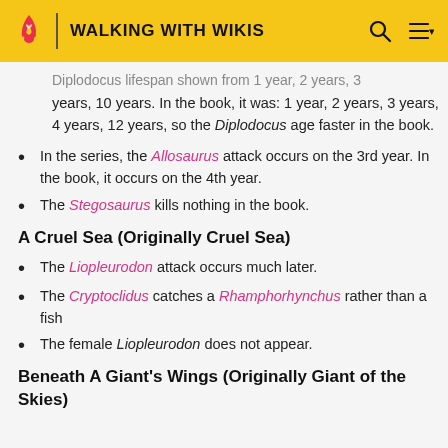WALKING WITH WIKIS
Diplodocus lifespan shown from 1 year, 2 years, 3 years, 10 years. In the book, it was: 1 year, 2 years, 3 years, 4 years, 12 years, so the Diplodocus age faster in the book.
In the series, the Allosaurus attack occurs on the 3rd year. In the book, it occurs on the 4th year.
The Stegosaurus kills nothing in the book.
A Cruel Sea (Originally Cruel Sea)
The Liopleurodon attack occurs much later.
The Cryptoclidus catches a Rhamphorhynchus rather than a fish
The female Liopleurodon does not appear.
Beneath A Giant's Wings (Originally Giant of the Skies)